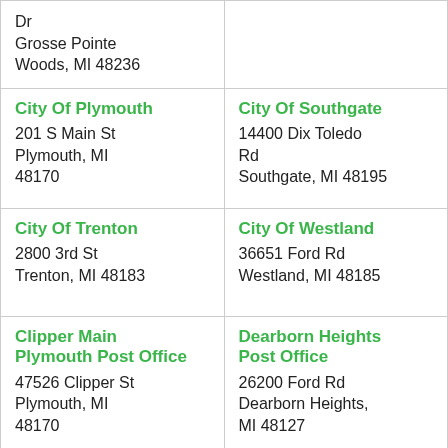| Dr
Grosse Pointe Woods, MI 48236 |  |
| City Of Plymouth
201 S Main St
Plymouth, MI 48170 | City Of Southgate
14400 Dix Toledo Rd
Southgate, MI 48195 |
| City Of Trenton
2800 3rd St
Trenton, MI 48183 | City Of Westland
36651 Ford Rd
Westland, MI 48185 |
| Clipper Main Plymouth Post Office
47526 Clipper St
Plymouth, MI 48170 | Dearborn Heights Post Office
26200 Ford Rd
Dearborn Heights, MI 48127 |